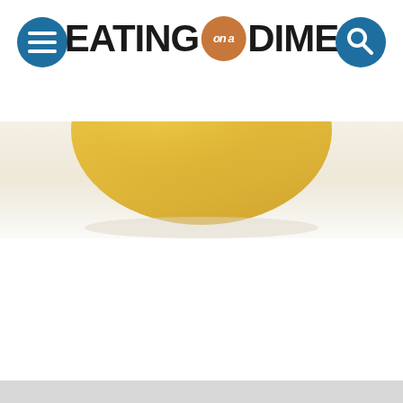EATING on a DIME
[Figure (photo): Partial photo of a yellow bowl on a light/cream background, cropped at top of page content area]
[Figure (other): Light gray footer bar at bottom of page]